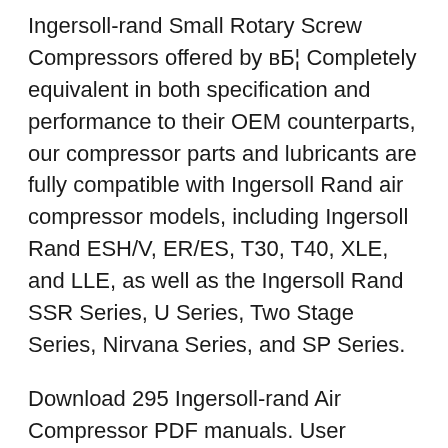Ingersoll-rand Small Rotary Screw Compressors offered by вБ¦ Completely equivalent in both specification and performance to their OEM counterparts, our compressor parts and lubricants are fully compatible with Ingersoll Rand air compressor models, including Ingersoll Rand ESH/V, ER/ES, T30, T40, XLE, and LLE, as well as the Ingersoll Rand SSR Series, U Series, Two Stage Series, Nirvana Series, and SP Series.
Download 295 Ingersoll-rand Air Compressor PDF manuals. User manuals, Ingersoll-rand Air compressor Operating guides and Service manuals. Nirvana IRN100-200H-2S. Operation And Maintenance Manual. NIRVANA IRN110КвБ"СС. Upload manual. upload from